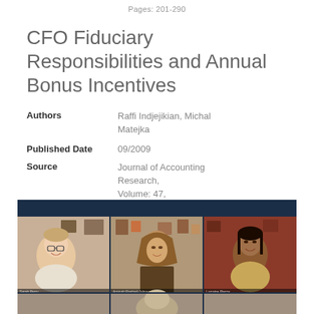Pages: 201-290
CFO Fiduciary Responsibilities and Annual Bonus Incentives
Authors: Raffi Indjejikian, Michal Matejka
Published Date: 09/2009
Source: Journal of Accounting Research, Volume: 47, Pages: 1061-1093
[Figure (photo): Video conference screenshot showing three participants in a grid layout with a dark navy header bar at the top. Left panel shows a woman with glasses and light background with wall art. Center panel shows a woman wearing a hijab with decorative background. Right panel shows a woman with a reddish-brown background. A fourth partial participant is visible at the bottom.]